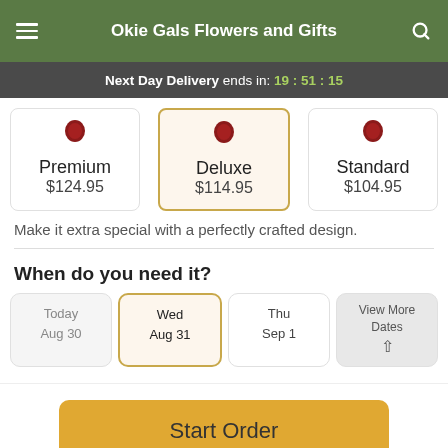Okie Gals Flowers and Gifts
Next Day Delivery ends in: 19:51:15
| Premium | Deluxe | Standard |
| --- | --- | --- |
| $124.95 | $114.95 | $104.95 |
Make it extra special with a perfectly crafted design.
When do you need it?
| Today Aug 30 | Wed Aug 31 | Thu Sep 1 | View More Dates |
| --- | --- | --- | --- |
Start Order